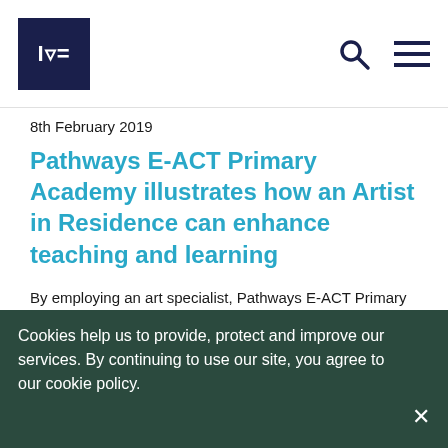IVE
8th February 2019
Pathways E-ACT Primary Academy illustrates how an Artist in Residence can enhance teaching and learning
By employing an art specialist, Pathways E-ACT Primary Academy has demonstrated their commitment to arts education and belief in its contribution to overall attainment....
Read More
Cookies help us to provide, protect and improve our services. By continuing to use our site, you agree to our cookie policy.